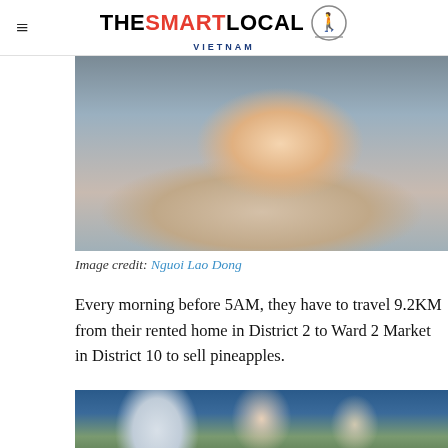THE SMART LOCAL VIETNAM
[Figure (photo): Close-up photo of a smiling boy]
Image credit: Nguoi Lao Dong
Every morning before 5AM, they have to travel 9.2KM from their rented home in District 2 to Ward 2 Market in District 10 to sell pineapples.
[Figure (photo): A boy and a woman wearing face masks sitting outdoors with pineapples in front of them, with a street scene in background]